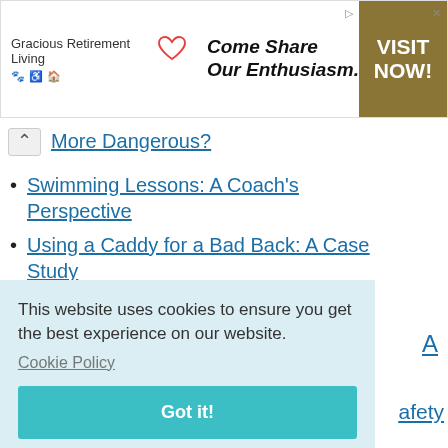[Figure (other): Advertisement banner for Gracious Retirement Living with tagline 'Come Share Our Enthusiasm.' and a gold 'VISIT NOW!' call-to-action button]
More Dangerous?
Swimming Lessons: A Coach's Perspective
Using a Caddy for a Bad Back: A Case Study
Taking Part in Sports With a Blood
This website uses cookies to ensure you get the best experience on our website.
Cookie Policy
afety
Gaming Under the Influence Led to Injury: